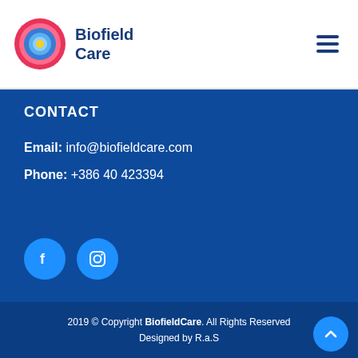Biofield Care
CONTACT
Email: info@biofieldcare.com
Phone: +386 40 423394
[Figure (other): Facebook and Instagram social media icon buttons (circular blue buttons)]
2019 © Copyright BiofieldCare. All Rights Reserved Designed by R.a.S